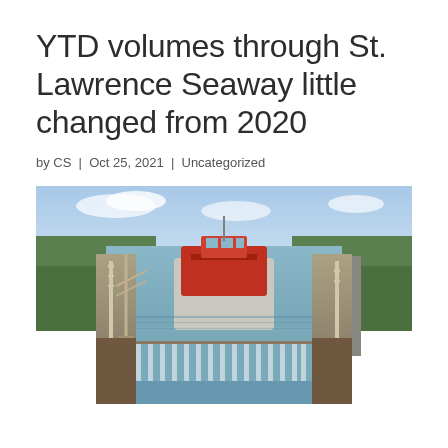YTD volumes through St. Lawrence Seaway little changed from 2020
by CS | Oct 25, 2021 | Uncategorized
[Figure (photo): Aerial photograph of a large red cargo ship passing through a lock on the St. Lawrence Seaway. The lock gates are open with water cascading down. Green trees line both sides of the waterway and a road is visible on the right side.]